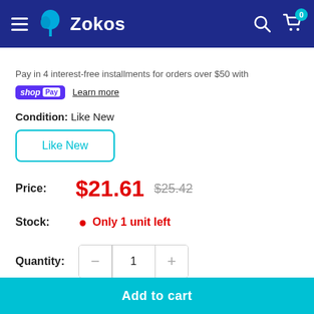Zokos
Pay in 4 interest-free installments for orders over $50 with shop Pay Learn more
Condition: Like New
Like New
Price: $21.61 $25.42
Stock: Only 1 unit left
Quantity: 1